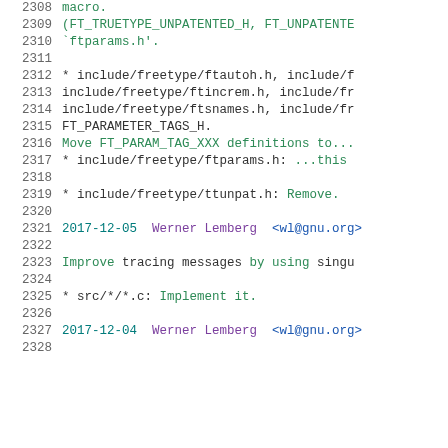2308  macro.
2309  (FT_TRUETYPE_UNPATENTED_H, FT_UNPATENTE
2310  `ftparams.h'.
2311
2312  * include/freetype/ftautoh.h, include/f
2313  include/freetype/ftincrem.h, include/fr
2314  include/freetype/ftsnames.h, include/fr
2315  FT_PARAMETER_TAGS_H.
2316  Move FT_PARAM_TAG_XXX definitions to...
2317  * include/freetype/ftparams.h: ...this
2318
2319  * include/freetype/ttunpat.h: Remove.
2320
2321  2017-12-05  Werner Lemberg  <wl@gnu.org>
2322
2323  Improve tracing messages by using singu
2324
2325  * src/*/*.c: Implement it.
2326
2327  2017-12-04  Werner Lemberg  <wl@gnu.org>
2328